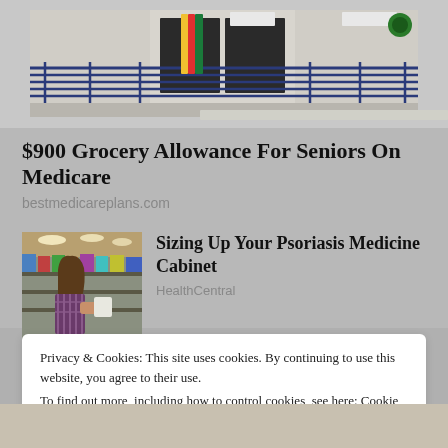[Figure (photo): Exterior of a building with blue metal railings and a ramp, dark entrance doors, concrete wall with signage.]
$900 Grocery Allowance For Seniors On Medicare
bestmedicareplans.com
[Figure (photo): Woman with long brown hair shopping in a grocery store aisle, wearing a plaid shirt, holding a product.]
Sizing Up Your Psoriasis Medicine Cabinet
HealthCentral
Privacy & Cookies: This site uses cookies. By continuing to use this website, you agree to their use.
To find out more, including how to control cookies, see here: Cookie Policy
Close and accept